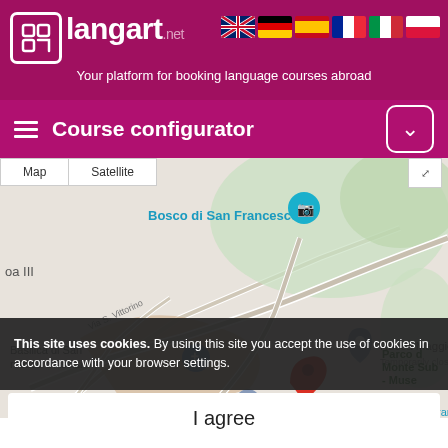[Figure (logo): Langart.net logo with icon on magenta background]
Your platform for booking language courses abroad
Course configurator
[Figure (map): Google Maps view of Assisi, Italy showing Bosco di San Francesco, Basilica di San Francesco d'Assisi, Rocca Maggiore (Temporarily closed), Chiesa Abbazia, Parco di Monte Sub - Muse, Paleontolo, Via di Francesco, with a red location pin and a teal camera pin]
This site uses cookies. By using this site you accept the use of cookies in accordance with your browser settings.
I agree